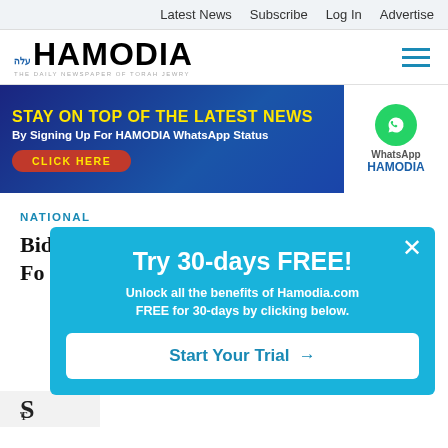Latest News  Subscribe  Log In  Advertise
[Figure (logo): Hamodia newspaper logo with Hebrew text and tagline 'THE DAILY NEWSPAPER OF TORAH JEWRY']
[Figure (infographic): Banner ad: STAY ON TOP OF THE LATEST NEWS By Signing Up For HAMODIA WhatsApp Status CLICK HERE — with WhatsApp logo and HAMODIA branding on white right panel]
NATIONAL
Biden Announces Student Loan Fo…
[Figure (screenshot): Popup overlay with cyan background: 'Try 30-days FREE! Unlock all the benefits of Hamodia.com FREE for 30-days by clicking below.' with 'Start Your Trial →' button and X close button]
S
T